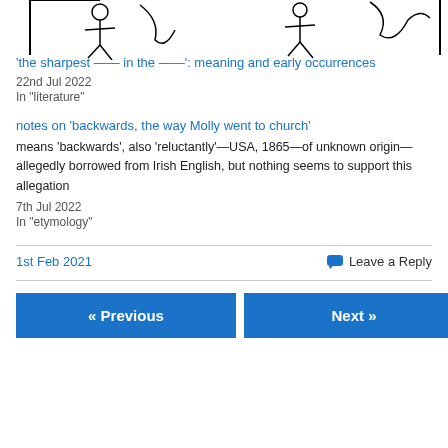[Figure (illustration): Partial top portion of an illustration showing hand-drawn figures, cropped at top of page]
'the sharpest —— in the ——': meaning and early occurrences
22nd Jul 2022
In "literature"
notes on 'backwards, the way Molly went to church'
means 'backwards', also 'reluctantly'—USA, 1865—of unknown origin—allegedly borrowed from Irish English, but nothing seems to support this allegation
7th Jul 2022
In "etymology"
1st Feb 2021
Leave a Reply
« Previous
Next »